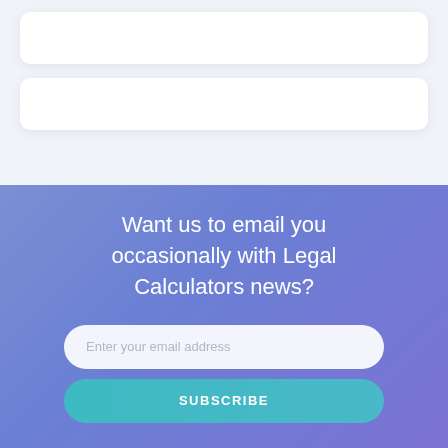[Figure (other): White card UI element 1 on light blue-grey background]
[Figure (other): White card UI element 2 on light blue-grey background]
Want us to email you occasionally with Legal Calculators news?
Enter your email address
SUBSCRIBE